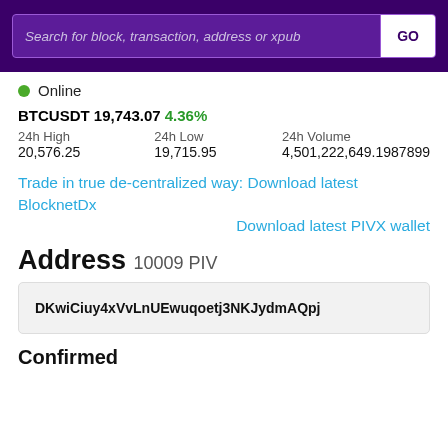Search for block, transaction, address or xpub | GO
Online
BTCUSDT 19,743.07 4.36%
| 24h High | 24h Low | 24h Volume |
| --- | --- | --- |
| 20,576.25 | 19,715.95 | 4,501,222,649.1987899 |
Trade in true de-centralized way: Download latest BlocknetDx
Download latest PIVX wallet
Address 10009 PIV
DKwiCiuy4xVvLnUEwuqoetj3NKJydmAQpj
Confirmed